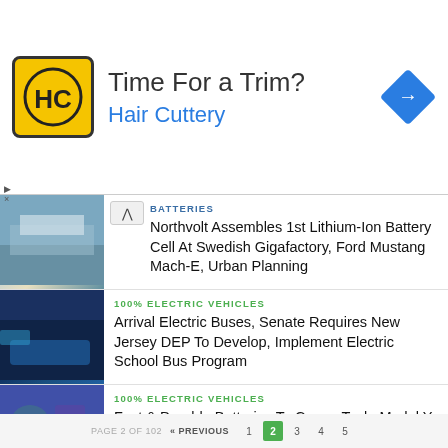[Figure (other): Advertisement banner: Hair Cuttery ad with yellow/black logo, 'Time For a Trim?' headline, 'Hair Cuttery' subtext in blue, and blue diamond navigation icon]
BATTERIES
Northvolt Assembles 1st Lithium-Ion Battery Cell At Swedish Gigafactory, Ford Mustang Mach-E, Urban Planning
100% ELECTRIC VEHICLES
Arrival Electric Buses, Senate Requires New Jersey DEP To Develop, Implement Electric School Bus Program
100% ELECTRIC VEHICLES
Fast & Durable Batteries To Come, Tesla Model Y Outperforms Model 3 In IIHS Crash Safety Tests
PAGE 2 OF 102   « PREVIOUS   1   2   3   4   5